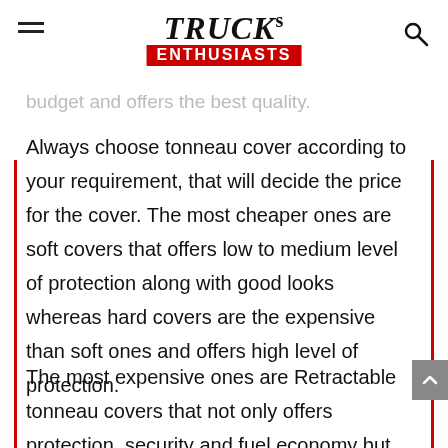TRUCKs ENTHUSIASTS
budget and offers the best quality.
Always choose tonneau cover according to your requirement, that will decide the price for the cover. The most cheaper ones are soft covers that offers low to medium level of protection along with good looks whereas hard covers are the expensive than soft ones and offers high level of protection.
The most expensive ones are Retractable tonneau covers that not only offers protection, security and fuel economy but also comes with remote control operation- that means, to open or close the cover, you